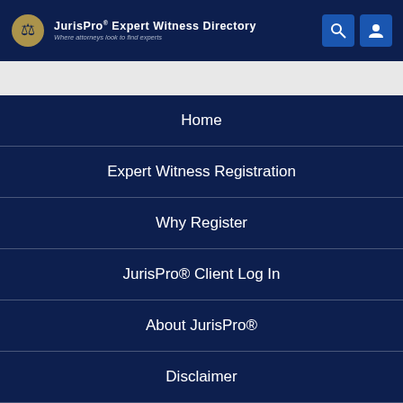JurisPro Expert Witness Directory — Where attorneys look to find experts
Home
Expert Witness Registration
Why Register
JurisPro® Client Log In
About JurisPro®
Disclaimer
Terms of Use